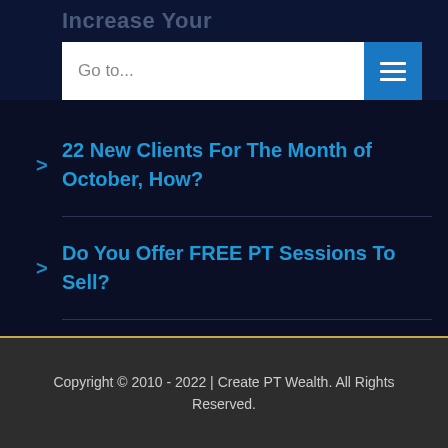Increase Your
Go to...
22 New Clients For The Month of October, How?
Do You Offer FREE PT Sessions To Sell?
Copyright © 2010 - 2022 | Create PT Wealth. All Rights Reserved.